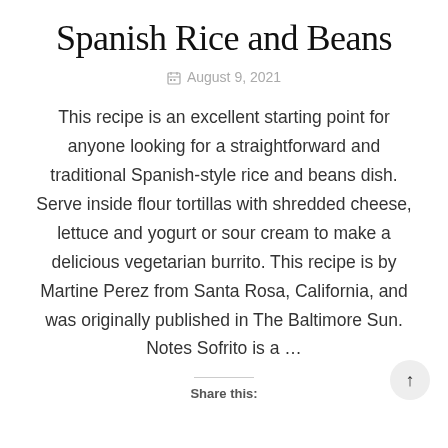Spanish Rice and Beans
August 9, 2021
This recipe is an excellent starting point for anyone looking for a straightforward and traditional Spanish-style rice and beans dish. Serve inside flour tortillas with shredded cheese, lettuce and yogurt or sour cream to make a delicious vegetarian burrito. This recipe is by Martine Perez from Santa Rosa, California, and was originally published in The Baltimore Sun. Notes Sofrito is a …
Share this: